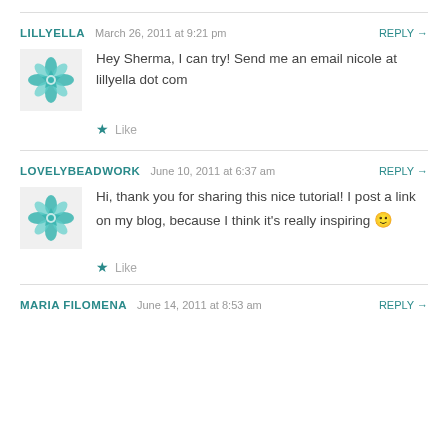LILLYELLA   March 26, 2011 at 9:21 pm   REPLY →
Hey Sherma, I can try! Send me an email nicole at lillyella dot com
★ Like
LOVELYBEADWORK   June 10, 2011 at 6:37 am   REPLY →
Hi, thank you for sharing this nice tutorial! I post a link on my blog, because I think it's really inspiring 🙂
★ Like
MARIA FILOMENA   June 14, 2011 at 8:53 am   REPLY →